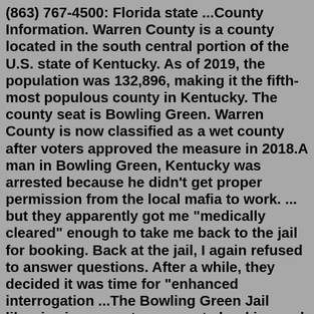(863) 767-4500: Florida state ...County Information. Warren County is a county located in the south central portion of the U.S. state of Kentucky. As of 2019, the population was 132,896, making it the fifth-most populous county in Kentucky. The county seat is Bowling Green. Warren County is now classified as a wet county after voters approved the measure in 2018.A man in Bowling Green, Kentucky was arrested because he didn't get proper permission from the local mafia to work. ... but they apparently got me "medically cleared" enough to take me back to the jail for booking. Back at the jail, I again refused to answer questions. After a while, they decided it was time for "enhanced interrogation ...The Bowling Green Jail likewise incorporates separate booking and detainment region for Adolescent arrestees. The Bowling Green Jail’s office is equipped with a shut circuit video checking framework that can be seen from the Bowling Green Jail’s workstation, the front work area, and the watch administrator’s office. Create an Account. Increase your...